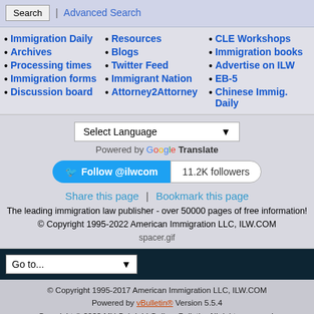Search | Advanced Search
• Immigration Daily
• Archives
• Processing times
• Immigration forms
• Discussion board
• Resources
• Blogs
• Twitter Feed
• Immigrant Nation
• Attorney2Attorney
• CLE Workshops
• Immigration books
• Advertise on ILW
• EB-5
• Chinese Immig. Daily
Select Language — Powered by Google Translate
Follow @ilwcom  11.2K followers
Share this page | Bookmark this page
The leading immigration law publisher - over 50000 pages of free information!
© Copyright 1995-2022 American Immigration LLC, ILW.COM
spacer.gif
Go to...
© Copyright 1995-2017 American Immigration LLC, ILW.COM
Powered by vBulletin® Version 5.5.4
Copyright © 2022 MH Sub I, LLC dba vBulletin. All rights reserved.
All times are GMT-5. This page was generated at 04:19 PM.